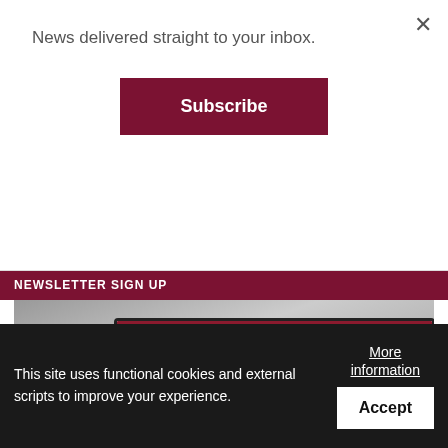News delivered straight to your inbox.
Subscribe
NEWSLETTER SIGN UP
[Figure (screenshot): Screenshot of saipantribune.com website on a tablet, with overlaid text reading NEVER MISS THE NEWS]
This site uses functional cookies and external scripts to improve your experience.
More information
Accept